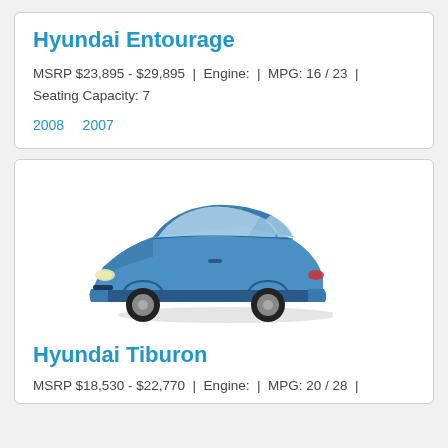Hyundai Entourage
MSRP $23,895 - $29,895  |  Engine:  |  MPG: 16 / 23  |  Seating Capacity: 7
2008   2007
[Figure (photo): Blue Hyundai Tiburon sports coupe, side-front view]
Hyundai Tiburon
MSRP $18,530 - $22,770  |  Engine:  |  MPG: 20 / 28  |